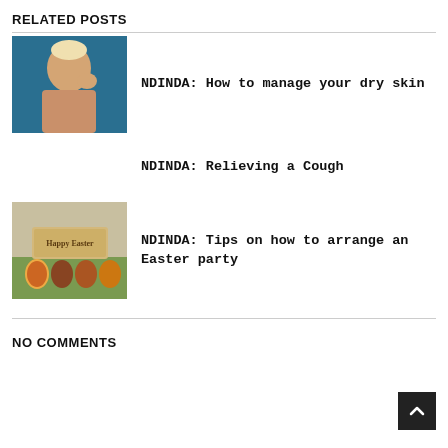RELATED POSTS
[Figure (photo): Black woman with short blonde hair touching her face against blue background]
NDINDA: How to manage your dry skin
NDINDA: Relieving a Cough
[Figure (photo): Easter decoration with Happy Easter wooden sign and colorful decorated eggs]
NDINDA: Tips on how to arrange an Easter party
NO COMMENTS